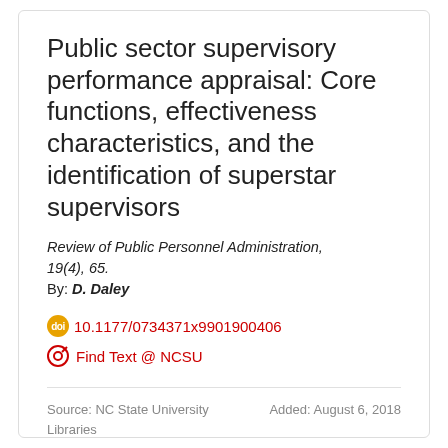Public sector supervisory performance appraisal: Core functions, effectiveness characteristics, and the identification of superstar supervisors
Review of Public Personnel Administration, 19(4), 65.
By: D. Daley
10.1177/0734371x9901900406
Find Text @ NCSU
Source: NC State University Libraries
Added: August 6, 2018